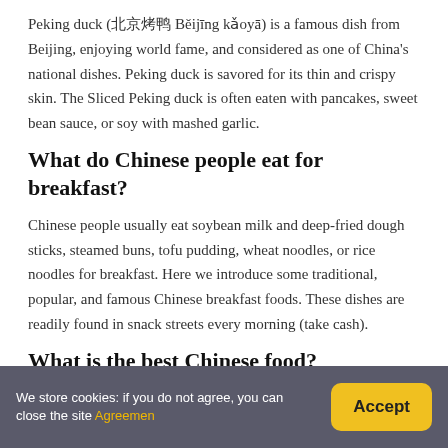Peking duck (北京烤鸭 Běijīng kǎoyā) is a famous dish from Beijing, enjoying world fame, and considered as one of China's national dishes. Peking duck is savored for its thin and crispy skin. The Sliced Peking duck is often eaten with pancakes, sweet bean sauce, or soy with mashed garlic.
What do Chinese people eat for breakfast?
Chinese people usually eat soybean milk and deep-fried dough sticks, steamed buns, tofu pudding, wheat noodles, or rice noodles for breakfast. Here we introduce some traditional, popular, and famous Chinese breakfast foods. These dishes are readily found in snack streets every morning (take cash).
What is the best Chinese food?
We store cookies: if you do not agree, you can close the site Agreemen